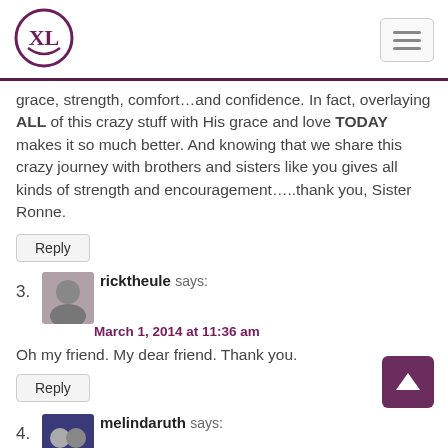XL logo and navigation menu
grace, strength, comfort…and confidence. In fact, overlaying ALL of this crazy stuff with His grace and love TODAY makes it so much better. And knowing that we share this crazy journey with brothers and sisters like you gives all kinds of strength and encouragement…..thank you, Sister Ronne.
Reply
3. ricktheule says: March 1, 2014 at 11:36 am — Oh my friend. My dear friend. Thank you.
Reply
4. melindaruth says: